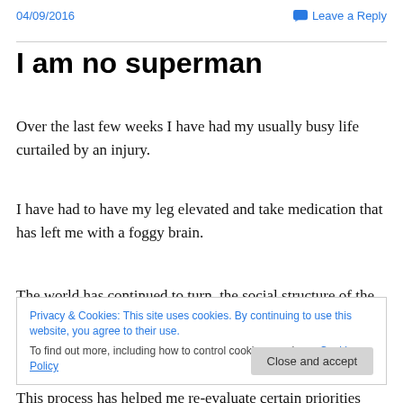04/09/2016    Leave a Reply
I am no superman
Over the last few weeks I have had my usually busy life curtailed by an injury.
I have had to have my leg elevated and take medication that has left me with a foggy brain.
The world has continued to turn, the social structure of the
Privacy & Cookies: This site uses cookies. By continuing to use this website, you agree to their use.
To find out more, including how to control cookies, see here: Cookie Policy
This process has helped me re-evaluate certain priorities